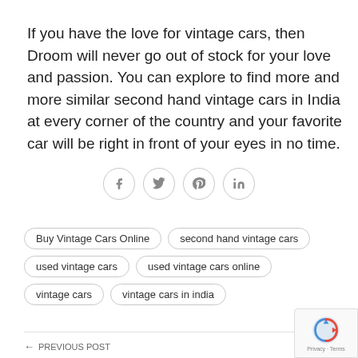If you have the love for vintage cars, then Droom will never go out of stock for your love and passion. You can explore to find more and more similar second hand vintage cars in India at every corner of the country and your favorite car will be right in front of your eyes in no time.
[Figure (infographic): Social media share icons: Facebook, Twitter, Pinterest, LinkedIn — each in a circular outline button]
Buy Vintage Cars Online
second hand vintage cars
used vintage cars
used vintage cars online
vintage cars
vintage cars in india
← PREVIOUS POST